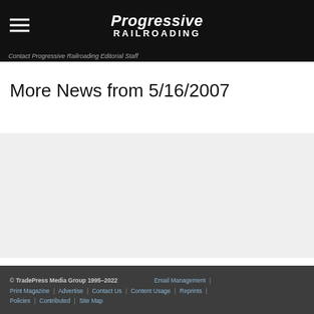Progressive Railroading
Contact Progressive Railroading Editorial Staff
More News from 5/16/2007
© TradePress Media Group 1995–2022  Email Management | Print Magazine | Advertise | Contact Us | Content Usage | Reprints | Policies | Contributed | Site Map